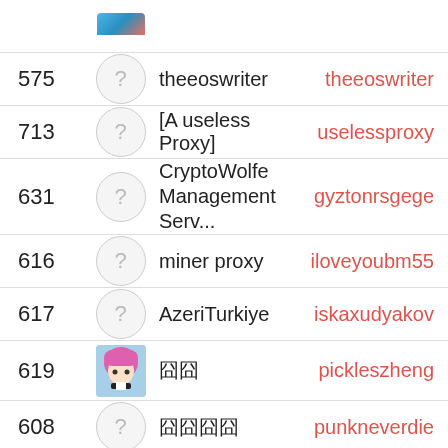| # | Avatar | Name | Username |
| --- | --- | --- | --- |
| 575 | ? | theeoswriter | theeoswriter |
| 713 | ? | [A useless Proxy] | uselessproxy |
| 631 | ? | CryptoWolfe Management Serv... | gyztonrsgege |
| 616 | ? | miner proxy | iloveyoubm55 |
| 617 | ? | AzeriTurkiye | iskaxudyakov |
| 619 | [anime avatar] | 囧囧 | pickleszheng |
| 608 | ? | 囧囧囧囧 | punkneverdie |
| 599 | [green avatar] | xzzf | ixwhqidexzzf |